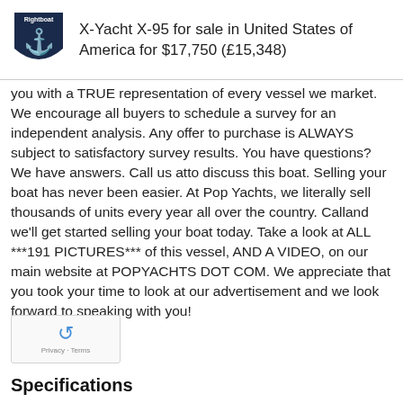X-Yacht X-95 for sale in United States of America for $17,750 (£15,348)
you with a TRUE representation of every vessel we market. We encourage all buyers to schedule a survey for an independent analysis. Any offer to purchase is ALWAYS subject to satisfactory survey results. You have questions? We have answers. Call us atto discuss this boat. Selling your boat has never been easier. At Pop Yachts, we literally sell thousands of units every year all over the country. Calland we'll get started selling your boat today. Take a look at ALL ***191 PICTURES*** of this vessel, AND A VIDEO, on our main website at POPYACHTS DOT COM. We appreciate that you took your time to look at our advertisement and we look forward to speaking with you!
Specifications